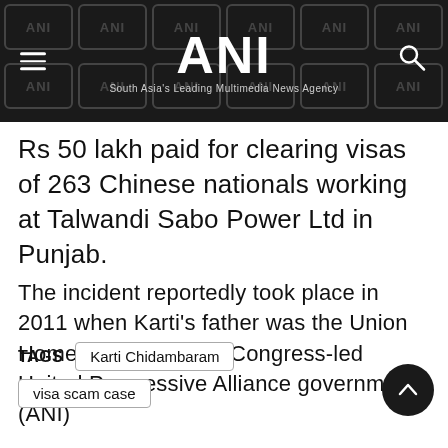ANI — South Asia's Leading Multimedia News Agency
Rs 50 lakh paid for clearing visas of 263 Chinese nationals working at Talwandi Sabo Power Ltd in Punjab.
The incident reportedly took place in 2011 when Karti's father was the Union Home minister in the Congress-led United Progressive Alliance government. (ANI)
TAGS  Karti Chidambaram  visa scam case